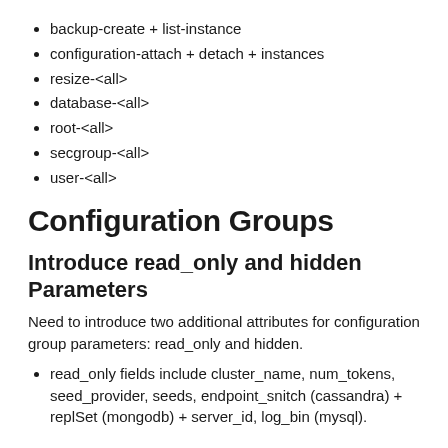backup-create + list-instance
configuration-attach + detach + instances
resize-<all>
database-<all>
root-<all>
secgroup-<all>
user-<all>
Configuration Groups
Introduce read_only and hidden Parameters
Need to introduce two additional attributes for configuration group parameters: read_only and hidden.
read_only fields include cluster_name, num_tokens, seed_provider, seeds, endpoint_snitch (cassandra) + replSet (mongodb) + server_id, log_bin (mysql).